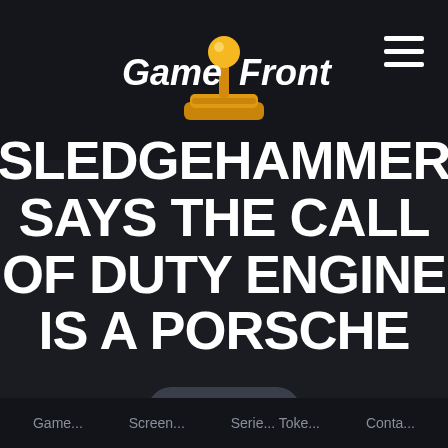[Figure (logo): GameFront logo with joystick mascot graphic and stylized text]
SLEDGEHAMMER SAYS THE CALL OF DUTY ENGINE IS A PORSCHE
🔔 Follow